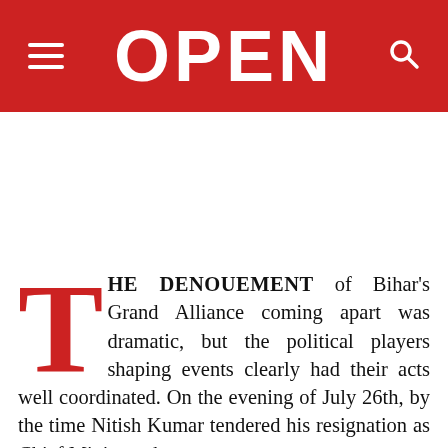OPEN
[Figure (other): Advertisement or blank space below header]
THE DENOUEMENT of Bihar's Grand Alliance coming apart was dramatic, but the political players shaping events clearly had their acts well coordinated. On the evening of July 26th, by the time Nitish Kumar tendered his resignation as Chief Minister, the